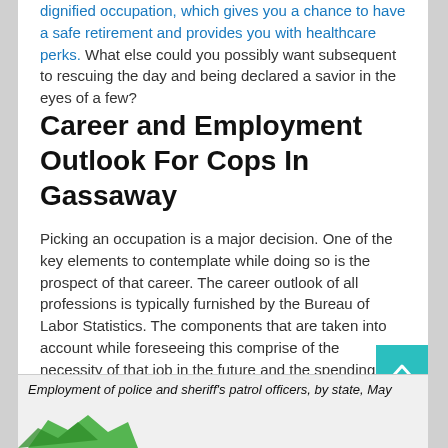dignified occupation, which gives you a chance to have a safe retirement and provides you with healthcare perks. What else could you possibly want subsequent to rescuing the day and being declared a savior in the eyes of a few?
Career and Employment Outlook For Cops In Gassaway
Picking an occupation is a major decision. One of the key elements to contemplate while doing so is the prospect of that career. The career outlook of all professions is typically furnished by the Bureau of Labor Statistics. The components that are taken into account while foreseeing this comprise of the necessity of that job in the future and the spending patterns of employers. We shall now take a look at the occupational outlook of a law enforcement officer.
[asd_program_button /]
Employment of police and sheriff's patrol officers, by state, May